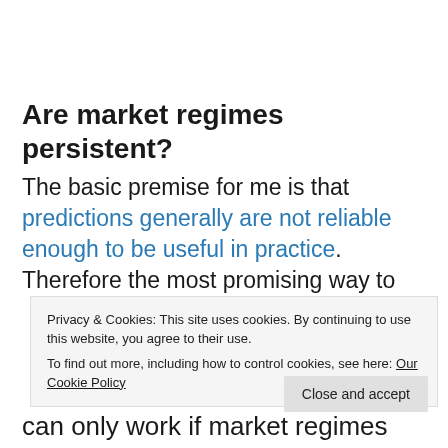Are market regimes persistent?
The basic premise for me is that predictions generally are not reliable enough to be useful in practice. Therefore the most promising way to can only work if market regimes last
Privacy & Cookies: This site uses cookies. By continuing to use this website, you agree to their use.
To find out more, including how to control cookies, see here: Our Cookie Policy
Close and accept